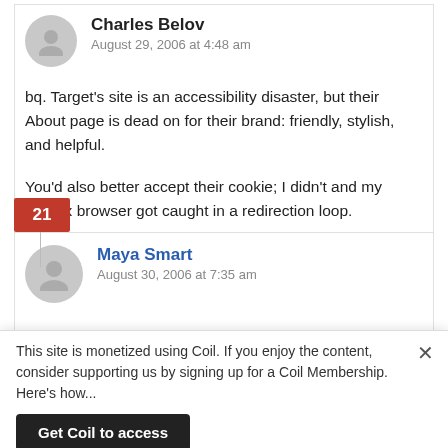Charles Belov
August 29, 2006 at 4:48 am
bq. Target’s site is an accessibility disaster, but their About page is dead on for their brand: friendly, stylish, and helpful.
You’d also better accept their cookie; I didn’t and my Firefox browser got caught in a redirection loop.
21
Maya Smart
August 30, 2006 at 7:35 am
This site is monetized using Coil. If you enjoy the content, consider supporting us by signing up for a Coil Membership. Here’s how...
Get Coil to access